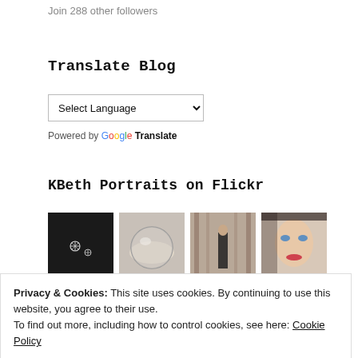Join 288 other followers
Translate Blog
Select Language (dropdown)
Powered by Google Translate
KBeth Portraits on Flickr
[Figure (photo): Four Flickr photo thumbnails: 1) snowflake crystals on dark fabric, 2) glass sphere in winter, 3) person in black cape in forest, 4) close-up portrait of young woman with blue eyes and red lips]
Privacy & Cookies: This site uses cookies. By continuing to use this website, you agree to their use. To find out more, including how to control cookies, see here: Cookie Policy
Close and accept